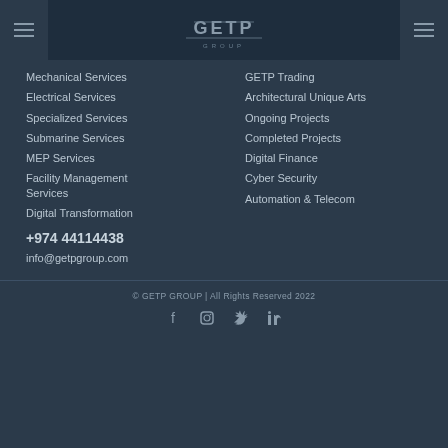GETP GROUP
Mechanical Services
Electrical Services
Specialized Services
Submarine Services
MEP Services
Facility Management Services
Digital Transformation
GETP Trading
Architectural Unique Arts
Ongoing Projects
Completed Projects
Digital Finance
Cyber Security
Automation & Telecom
+974 44114438
info@getpgroup.com
© GETP GROUP | All Rights Reserved 2022